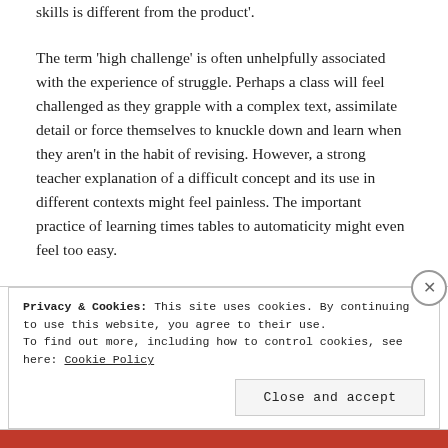skills is different from the product'.
The term ‘high challenge’ is often unhelpfully associated with the experience of struggle. Perhaps a class will feel challenged as they grapple with a complex text, assimilate detail or force themselves to knuckle down and learn when they aren’t in the habit of revising. However, a strong teacher explanation of a difficult concept and its use in different contexts might feel painless. The important practice of learning times tables to automaticity might even feel too easy.
Privacy & Cookies: This site uses cookies. By continuing to use this website, you agree to their use.
To find out more, including how to control cookies, see here: Cookie Policy
Close and accept